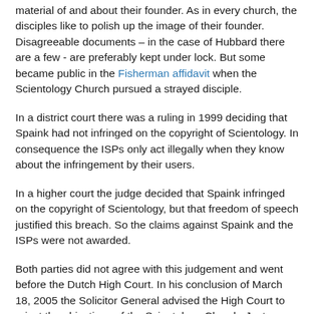material of and about their founder. As in every church, the disciples like to polish up the image of their founder. Disagreeable documents – in the case of Hubbard there are a few - are preferably kept under lock. But some became public in the Fisherman affidavit when the Scientology Church pursued a strayed disciple.
In a district court there was a ruling in 1999 deciding that Spaink had not infringed on the copyright of Scientology. In consequence the ISPs only act illegally when they know about the infringement by their users.
In a higher court the judge decided that Spaink infringed on the copyright of Scientology, but that freedom of speech justified this breach. So the claims against Spaink and the ISPs were not awarded.
Both parties did not agree with this judgement and went before the Dutch High Court. In his conclusion of March 18, 2005 the Solicitor General advised the High Court to reject the objections of the Scientology Church. Just before the official ruling the Scientology Church withdrew the case.